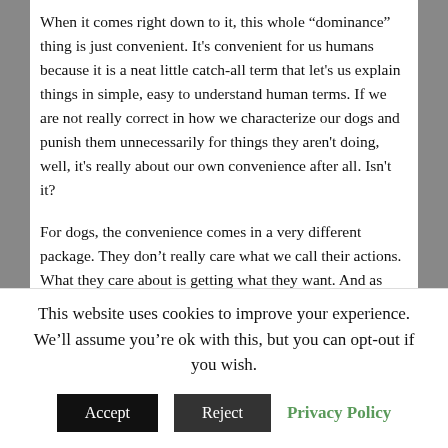When it comes right down to it, this whole “dominance” thing is just convenient. It's convenient for us humans because it is a neat little catch-all term that let's us explain things in simple, easy to understand human terms. If we are not really correct in how we characterize our dogs and punish them unnecessarily for things they aren't doing, well, it's really about our own convenience after all. Isn't it?
For dogs, the convenience comes in a very different package. They don’t really care what we call their actions. What they care about is getting what they want. And as author and dog trainer Jean Donaldson says so well in her book The Culture Clash, “Dogs do what works.” Don’t want to be bothered while eating? Growl. The humans back off. Don’t want that toy taken away? Air snap. That seems to
This website uses cookies to improve your experience. We’ll assume you’re ok with this, but you can opt-out if you wish.